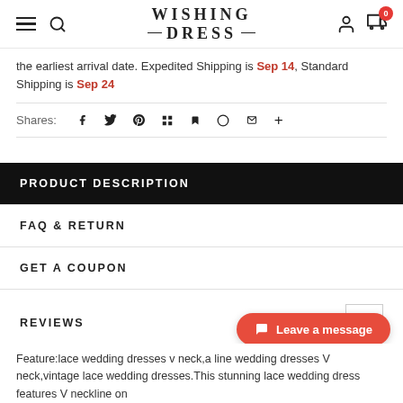WISHING DRESS
the earliest arrival date. Expedited Shipping is Sep 14, Standard Shipping is Sep 24
Shares:
PRODUCT DESCRIPTION
FAQ & RETURN
GET A COUPON
REVIEWS
Feature:lace wedding dresses v neck,a line wedding dresses V neck,vintage lace wedding dresses.This stunning lace wedding dress features V neckline on